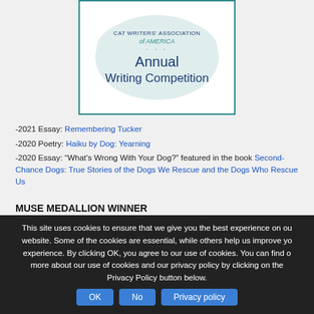[Figure (logo): Annual Writing Competition logo with teal border, 'of AMERICA' in teal italic, three dots, and 'Annual Writing Competition' text in dark navy on white background with faint bird watermark]
-2021 Essay: Remembering Tucker
-2020 Poetry: Haiku by Dog: Yearning
-2020 Essay: “What’s Wrong With Your Dog?” featured in the book Second-Chance Dogs: True Stories of the Dogs We Rescue and the Dogs Who Rescue Us
MUSE MEDALLION WINNER
This site uses cookies to ensure that we give you the best experience on our website. Some of the cookies are essential, while others help us improve your experience. By clicking OK, you agree to our use of cookies. You can find out more about our use of cookies and our privacy policy by clicking on the Privacy Policy button below.